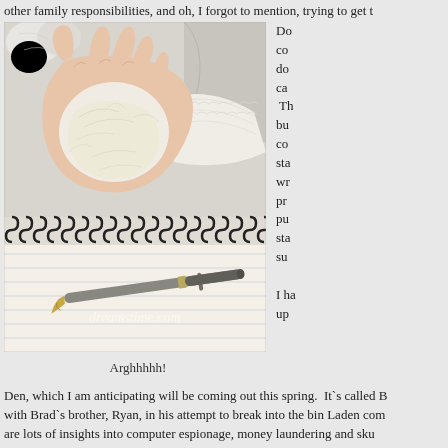other family responsibilities, and oh, I forgot to mention, trying to get t
[Figure (photo): A hand crumpling paper above a spiral notebook with a fountain pen resting on it. Dreamstime watermark visible.]
Arghhhhh!
Do co do ca Th bu co sta wr pr pu sta su I ha up
Den, which I am anticipating will be coming out this spring.  It`s called B with Brad`s brother, Ryan, in his attempt to break into the bin Laden com are lots of insights into computer espionage, money laundering and sku